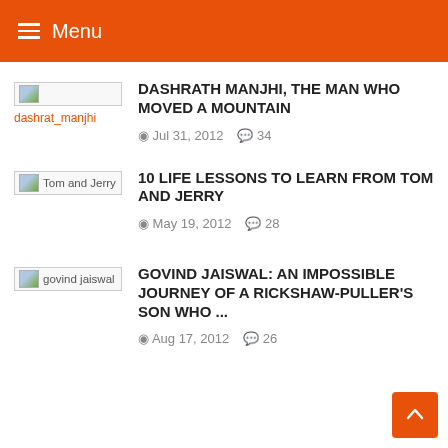Menu
DASHRATH MANJHI, THE MAN WHO MOVED A MOUNTAIN — Jul 31, 2012 — 34 comments
10 LIFE LESSONS TO LEARN FROM TOM AND JERRY — May 19, 2012 — 28 comments
GOVIND JAISWAL: AN IMPOSSIBLE JOURNEY OF A RICKSHAW-PULLER'S SON WHO ... — Aug 17, 2012 — 26 comments